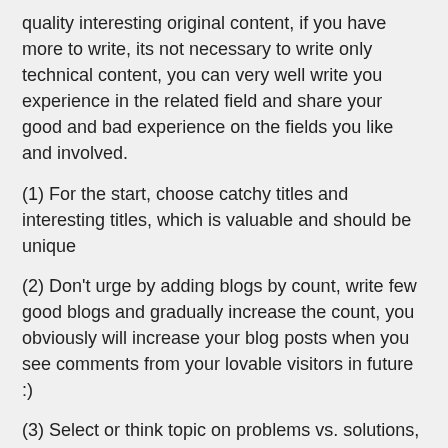quality interesting original content, if you have more to write, its not necessary to write only technical content, you can very well write you experience in the related field and share your good and bad experience on the fields you like and involved.
(1) For the start, choose catchy titles and interesting titles, which is valuable and should be unique
(2) Don't urge by adding blogs by count, write few good blogs and gradually increase the count, you obviously will increase your blog posts when you see comments from your lovable visitors in future :)
(3) Select or think topic on problems vs. solutions, and write your experiences and thoughts and ask for comments and add their valuable ideas towards your blog, this will create pillars for your blog
(4) Don't use too much of images like banners in blog, since blog is only meant for content and make your visitors to read your valuable write-ups, of course you can add your photo :)